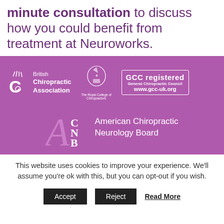minute consultation to discuss how you could benefit from treatment at Neuroworks.
[Figure (logo): Purple banner containing three logos: British Chiropractic Association, The Royal College of Chiropractors, GCC registered General Chiropractic Council www.gcc-uk.org, and American Chiropractic Neurology Board (ACNB)]
This website uses cookies to improve your experience. We'll assume you're ok with this, but you can opt-out if you wish.
Accept  Reject  Read More